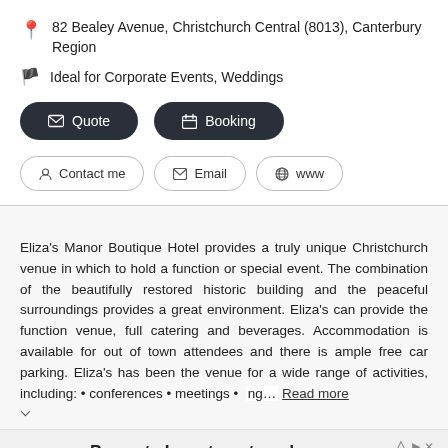82 Bealey Avenue, Christchurch Central (8013), Canterbury Region
Ideal for Corporate Events, Weddings
Quote
Booking
Contact me
Email
www
Eliza's Manor Boutique Hotel provides a truly unique Christchurch venue in which to hold a function or special event. The combination of the beautifully restored historic building and the peaceful surroundings provides a great environment. Eliza's can provide the function venue, full catering and beverages. Accommodation is available for out of town attendees and there is ample free car parking. Eliza's has been the venue for a wide range of activities, including: • conferences • meetings • ng... Read more
Property Investment made easy
Opoly -- Invest In Real Estate From Just $100
Opoly
Learn More